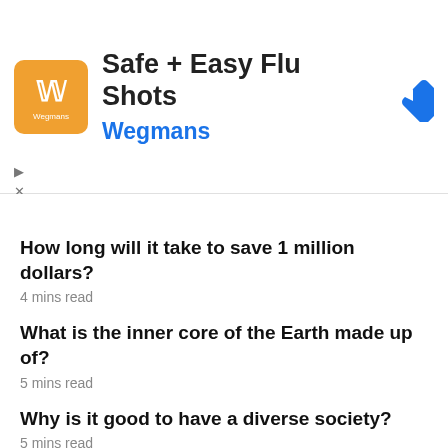[Figure (logo): Wegmans Safe + Easy Flu Shots advertisement banner with orange logo, title text, and blue navigation arrow]
How long will it take to save 1 million dollars?
4 mins read
What is the inner core of the Earth made up of?
5 mins read
Why is it good to have a diverse society?
5 mins read
How many McDonald's are there in the world 2020?
3 mins read
Does your favorite color say anything about you?
6 mins read